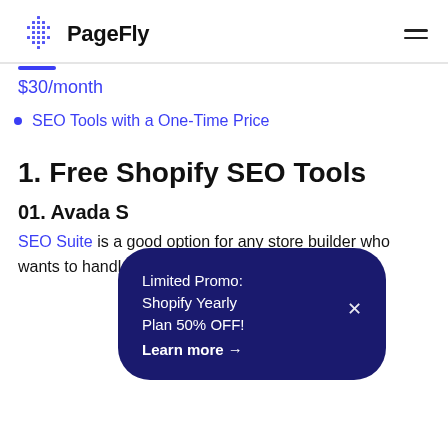PageFly
$30/month
SEO Tools with a One-Time Price
1. Free Shopify SEO Tools
[Figure (other): Popup overlay with dark navy background, rounded pill shape. Text: 'Limited Promo: Shopify Yearly Plan 50% OFF! Learn more →' with a close X button.]
01. Avada S
SEO Suite is a good option for any store builder who wants to handle on-page SEO effortlessly. It is